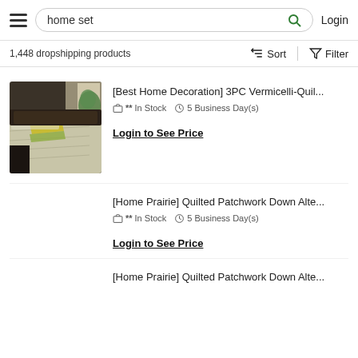home set — Login
1,448 dropshipping products
Sort  Filter
[Figure (photo): Photo of a bed with a quilted green and yellow bedspread/coverlet set in a bedroom setting.]
[Best Home Decoration] 3PC Vermicelli-Quil...
** In Stock   5 Business Day(s)
Login to See Price
[Home Prairie] Quilted Patchwork Down Alte...
** In Stock   5 Business Day(s)
Login to See Price
[Home Prairie] Quilted Patchwork Down Alte...